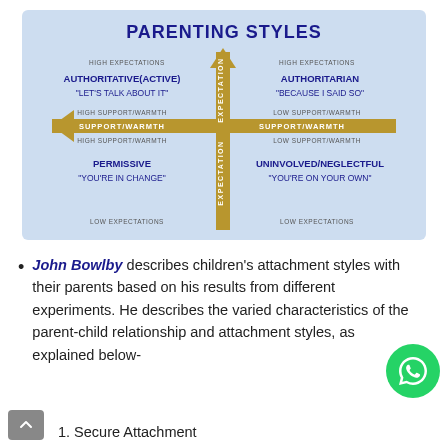[Figure (infographic): Parenting Styles quadrant diagram with two axes: Expectation (vertical, up=high, down=low) and Support/Warmth (horizontal, left=high, right=low). Four quadrants: Authoritative(Active) top-left, Authoritarian top-right, Permissive bottom-left, Uninvolved/Neglectful bottom-right. Background is light blue.]
John Bowlby describes children's attachment styles with their parents based on his results from different experiments. He describes the varied characteristics of the parent-child relationship and attachment styles, as explained below-
1. Secure Attachment